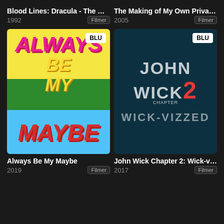Blood Lines: Dracula - The Ma...
1992
Filmer
The Making of My Own Private...
2005
Filmer
[Figure (illustration): Movie poster for Always Be My Maybe showing two people holding hands with colorful text: ALWAYS BE MY MAYBE. BLU badge in top right corner.]
[Figure (illustration): Movie poster for John Wick Chapter 2: Wick-Vizzed on dark teal background with stylized text. BLU badge in top right corner.]
Always Be My Maybe
2019
Filmer
John Wick Chapter 2: Wick-viz...
2017
Filmer